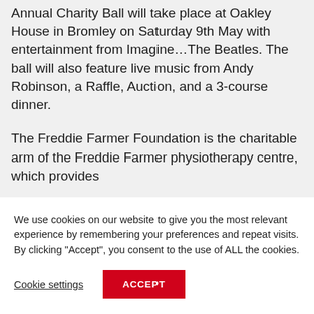Annual Charity Ball will take place at Oakley House in Bromley on Saturday 9th May with entertainment from Imagine…The Beatles. The ball will also feature live music from Andy Robinson, a Raffle, Auction, and a 3-course dinner.

The Freddie Farmer Foundation is the charitable arm of the Freddie Farmer physiotherapy centre, which provides
We use cookies on our website to give you the most relevant experience by remembering your preferences and repeat visits. By clicking "Accept", you consent to the use of ALL the cookies.
Cookie settings
ACCEPT